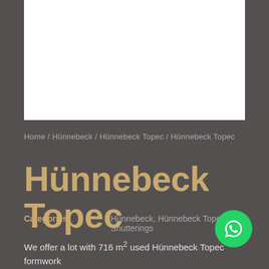[Figure (photo): White rectangular image box at the top of the page]
Home / Hünnebeck / Hünnebeck Topec / Hünnebeck Topec
Hünnebeck Topec
Categories    Hünnebeck, Hünnebeck Topec, Shutterings
We offer a lot with 716 m² used Hünnebeck Topec formwork incl. Accessories on